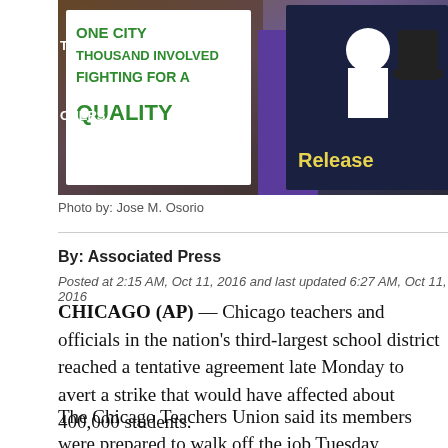[Figure (photo): Protesters holding signs at a demonstration; one sign reads 'One City Thousand Involved Fighting for a Quality' in green and another reads 'Release' on a dark background with cartoon imagery]
Photo by: Jose M. Osorio
By: Associated Press
Posted at 2:15 AM, Oct 11, 2016 and last updated 6:27 AM, Oct 11, 2016
CHICAGO (AP) — Chicago teachers and officials in the nation's third-largest school district reached a tentative agreement late Monday to avert a strike that would have affected about 400,000 students.
The Chicago Teachers Union said its members were prepared to walk off the job Tuesday morning for its second major strike since 2012, when teachers were out for seven school days. At issue during the